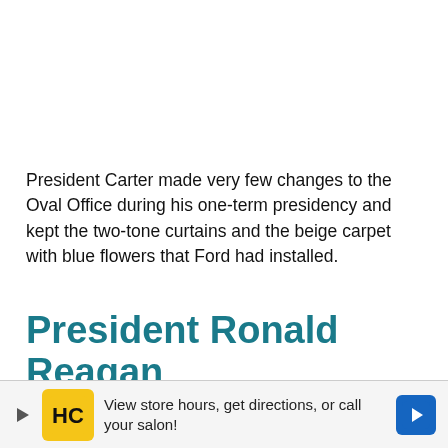President Carter made very few changes to the Oval Office during his one-term presidency and kept the two-tone curtains and the beige carpet with blue flowers that Ford had installed.
President Ronald Reagan
[Figure (photo): Partial view of the Oval Office ceiling/room, showing a white curved ceiling with molding detail.]
View store hours, get directions, or call your salon!